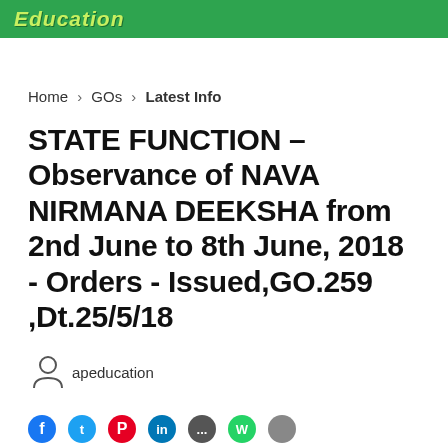Education
Home > GOs > Latest Info
STATE FUNCTION – Observance of NAVA NIRMANA DEEKSHA from 2nd June to 8th June, 2018 - Orders - Issued,GO.259 ,Dt.25/5/18
apeducation